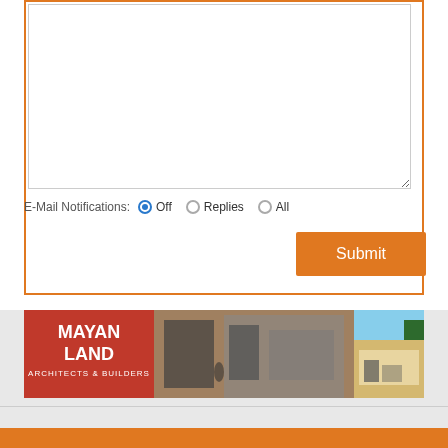[Figure (screenshot): Web form with comment textarea, email notification radio buttons (Off selected, Replies, All), and Submit button inside an orange-bordered box]
E-Mail Notifications: Off  Replies  All
Submit
[Figure (photo): Mayan Land Architects & Builders banner advertisement showing building exteriors and logo]